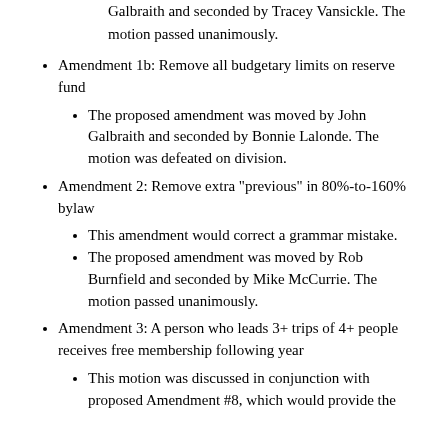The proposed amendment was moved by John Galbraith and seconded by Tracey Vansickle. The motion passed unanimously.
Amendment 1b: Remove all budgetary limits on reserve fund
The proposed amendment was moved by John Galbraith and seconded by Bonnie Lalonde. The motion was defeated on division.
Amendment 2: Remove extra "previous" in 80%-to-160% bylaw
This amendment would correct a grammar mistake.
The proposed amendment was moved by Rob Burnfield and seconded by Mike McCurrie. The motion passed unanimously.
Amendment 3: A person who leads 3+ trips of 4+ people receives free membership following year
This motion was discussed in conjunction with proposed Amendment #8, which would provide the